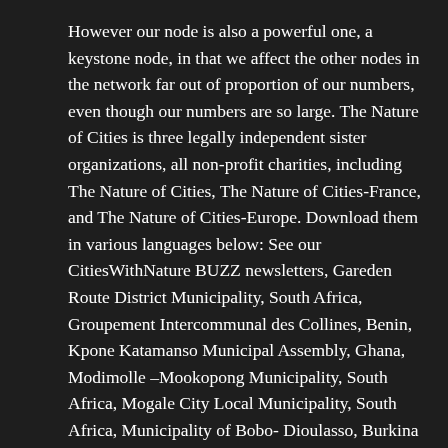However our node is also a powerful one, a keystone node, in that we affect the other nodes in the network far out of proportion of our numbers, even though our numbers are so large. The Nature of Cities is three legally independent sister organizations, all non-profit charities, including The Nature of Cities, The Nature of Cities-France, and The Nature of Cities-Europe. Download them in various languages below: See our CitiesWithNature BUZZ newsletters, Gareden Route District Municipality, South Africa, Groupement Intercommunal des Collines, Benin, Kpone Katamanso Municipal Assembly, Ghana, Modimolle –Mookopong Municipality, South Africa, Mogale City Local Municipality, South Africa, Municipality of Bobo- Dioulasso, Burkina Faso, Steve Tshwete Local Municipality, South Africa, Thabazimbi Local Municipality, South Africa, Theewaterskloof Municipality, South Africa, Dun Laoghaire Rathdown County Council, United Kingdom, Greater Manchester Combined Authority,